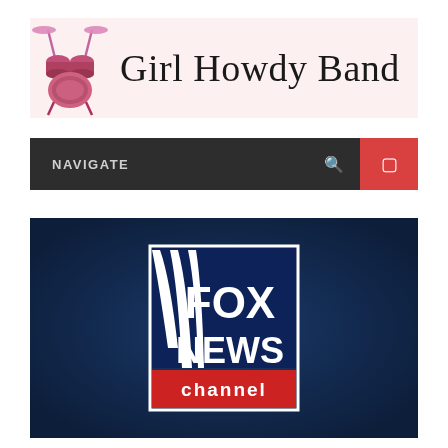[Figure (logo): Girl Howdy Band logo banner with drum kit icon on pink background and text 'Girl Howdy Band' in serif font]
[Figure (screenshot): Website navigation bar with dark background showing NAVIGATE text, search icon, and red hamburger menu button]
[Figure (logo): Fox News Channel logo on dark navy blue background with white rectangular border, white diagonal swoosh lines, and red channel bar]